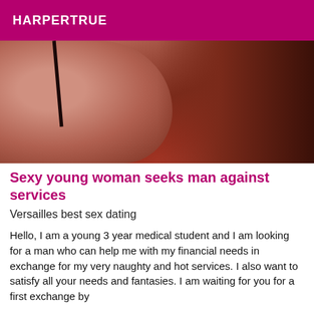HARPERTRUE
[Figure (photo): Close-up photo of a person's bare shoulder and back, reddish-brown tones, dark background on the right side, a thin dark strap visible on the shoulder.]
Sexy young woman seeks man against services
Versailles best sex dating
Hello, I am a young 3 year medical student and I am looking for a man who can help me with my financial needs in exchange for my very naughty and hot services. I also want to satisfy all your needs and fantasies. I am waiting for you for a first exchange by